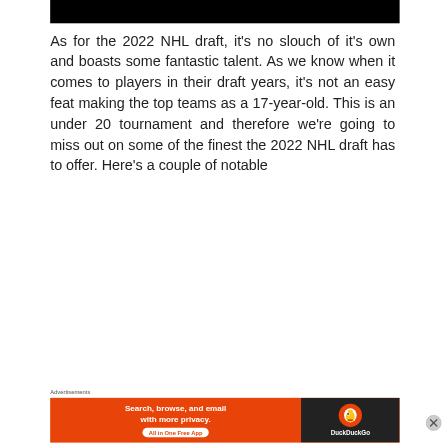[Figure (other): Black rectangular banner at the top of the page]
As for the 2022 NHL draft, it's no slouch of it's own and boasts some fantastic talent. As we know when it comes to players in their draft years, it's not an easy feat making the top teams as a 17-year-old. This is an under 20 tournament and therefore we're going to miss out on some of the finest the 2022 NHL draft has to offer. Here's a couple of notable
Advertisements
[Figure (other): DuckDuckGo advertisement banner: orange background with text 'Search, browse, and email with more privacy. All in One Free App' and DuckDuckGo logo on dark right panel]